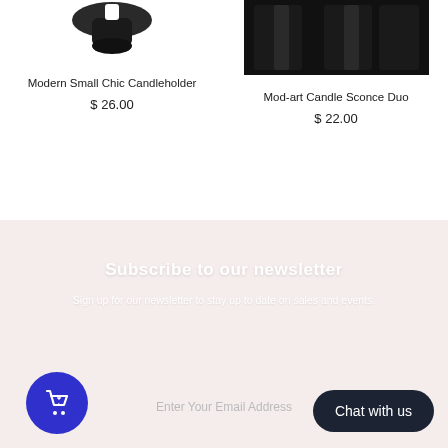[Figure (photo): Product image of Modern Small Chic Candleholder, partially shown at top]
Modern Small Chic Candleholder
$ 26.00
[Figure (photo): Product image of Mod-art Candle Sconce Duo with black geometric shapes]
Mod-art Candle Sconce Duo
$ 22.00
Subscribe to our newsletter
Sign up for our newsletter to stay up to date on sales and events.
Enter Your Email Address
Chat with us